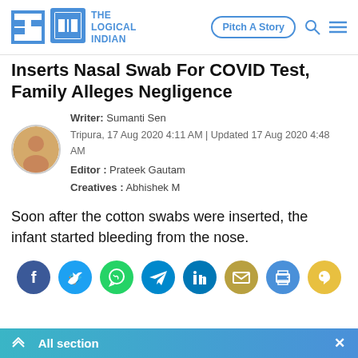The Logical Indian — Pitch A Story
Inserts Nasal Swab For COVID Test, Family Alleges Negligence
Writer: Sumanti Sen
Tripura, 17 Aug 2020 4:11 AM | Updated 17 Aug 2020 4:48 AM
Editor : Prateek Gautam
Creatives : Abhishek M
Soon after the cotton swabs were inserted, the infant started bleeding from the nose.
[Figure (infographic): Social sharing icons: Facebook, Twitter, WhatsApp, Telegram, LinkedIn, Email, Print, ShareChat]
All section